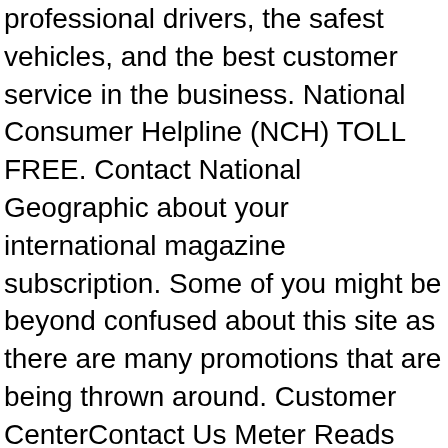professional drivers, the safest vehicles, and the best customer service in the business. National Consumer Helpline (NCH) TOLL FREE. Contact National Geographic about your international magazine subscription. Some of you might be beyond confused about this site as there are many promotions that are being thrown around. Customer CenterContact Us Meter Reads Click Here Request Service Click Here Order Supplies Click Here Remote Support Login Click Here Download Drivers Click Here Request IT Support Click Here Request an Assessment Click Here Contact Us Click Here Send a File Click Here Request an Equipment Move Click Here Request Training Click Here Company Surveys [...] Compare National Consumer Center To Companies are selected automatically by the algorithm. According to complaints, the 'National Consumer Center' pop-ups may claim that the computer user has won a free iPhone or some other similar costly prize. Contact the